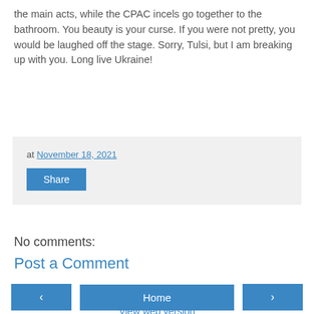the main acts, while the CPAC incels go together to the bathroom. You beauty is your curse. If you were not pretty, you would be laughed off the stage. Sorry, Tulsi, but I am breaking up with you. Long live Ukraine!
at November 18, 2021
Share
No comments:
Post a Comment
Home
View web version
Powered by Blogger.